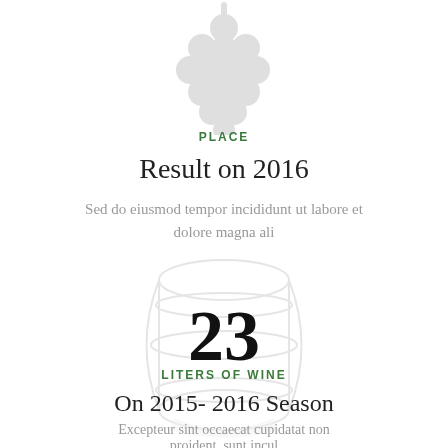[Figure (illustration): Decorative grape cluster illustration at top of page]
PLACE
Result on 2016
Sed do eiusmod tempor incididunt ut labore et dolore magna ali
[Figure (illustration): Decorative wine barrel illustration with number 23 overlaid]
LITERS OF WINE
On 2015- 2016 Season
Excepteur sint occaecat cupidatat non proident, sunt incul